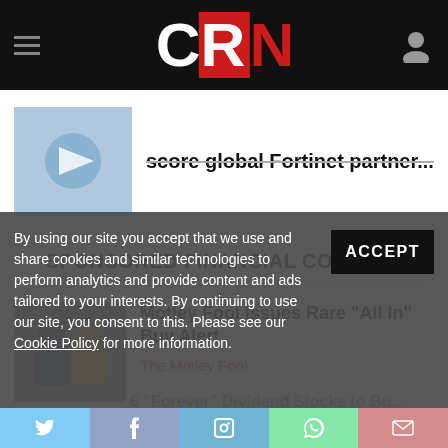CRN
score global Fortinet partner...
SPONSORED FINANCIAL CONTENT
Motley Fool Issues Rare "All In" Buy Alert
The Motley Fool
By using our site you accept that we use and share cookies and similar technologies to perform analytics and provide content and ads tailored to your interests. By continuing to use our site, you consent to this. Please see our Cookie Policy for more information.